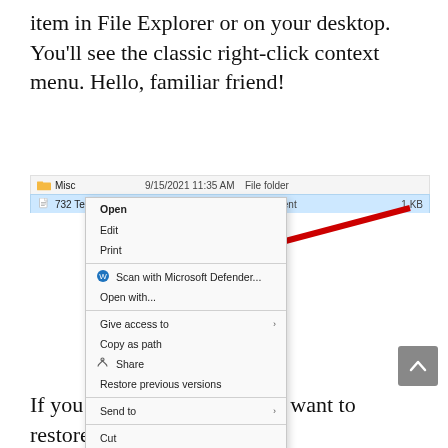item in File Explorer or on your desktop. You'll see the classic right-click context menu. Hello, familiar friend!
[Figure (screenshot): Windows File Explorer showing a text file selected with the classic right-click context menu open, displaying options: Open, Edit, Print, Scan with Microsoft Defender..., Open with..., Give access to, Copy as path, Share, Restore previous versions, Send to, Cut, Copy, Create shortcut, Delete, Rename, Properties. A red arrow points to the context menu.]
If you change your mind and want to restore the default right-click context menu, follow the...